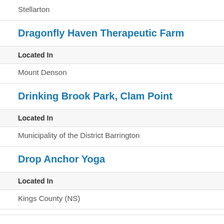Stellarton
Dragonfly Haven Therapeutic Farm
Located In
Mount Denson
Drinking Brook Park, Clam Point
Located In
Municipality of the District Barrington
Drop Anchor Yoga
Located In
Kings County (NS)